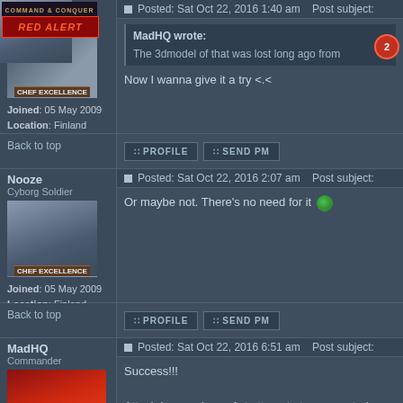Cyborg Soldier
[Figure (photo): Avatar of Cyborg Soldier with chef hat]
Joined: 05 May 2009 Location: Finland
Posted: Sat Oct 22, 2016 1:40 am    Post subject:
MadHQ wrote: The 3dmodel of that was lost long ago from
Now I wanna give it a try <.<
Back to top
PROFILE   SEND PM
Nooze
Cyborg Soldier
[Figure (photo): Avatar of Nooze with chef hat]
Joined: 05 May 2009
Location: Finland
Posted: Sat Oct 22, 2016 2:07 am    Post subject:
Or maybe not. There's no need for it
Back to top
PROFILE   SEND PM
MadHQ
Commander
[Figure (photo): Avatar of MadHQ - Command & Conquer Red Alert 2 cover]
Posted: Sat Oct 22, 2016 6:51 am    Post subject:
Success!!!
Attach image shows 1st attempt at a generated new hot s
I also fixed that weird mess that was on the left side of the